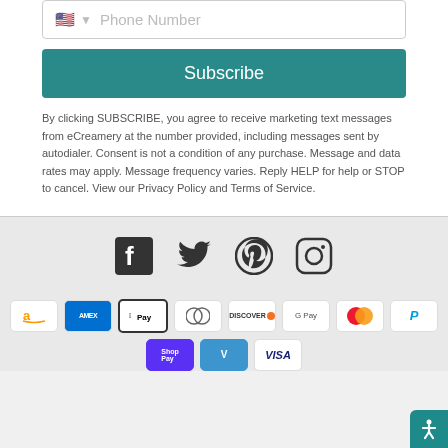[Figure (screenshot): Phone number input field with US flag icon, dropdown arrow, and placeholder text 'Phone Number']
[Figure (screenshot): Teal Subscribe button]
By clicking SUBSCRIBE, you agree to receive marketing text messages from eCreamery at the number provided, including messages sent by autodialer. Consent is not a condition of any purchase. Message and data rates may apply. Message frequency varies. Reply HELP for help or STOP to cancel. View our Privacy Policy and Terms of Service.
[Figure (infographic): Social media icons row: Facebook, Twitter, Pinterest, Instagram]
[Figure (infographic): Payment method icons: Amazon, Amex, Apple Pay, Diners Club, Discover, Google Pay, Mastercard, PayPal, Shop Pay, Venmo, Visa]